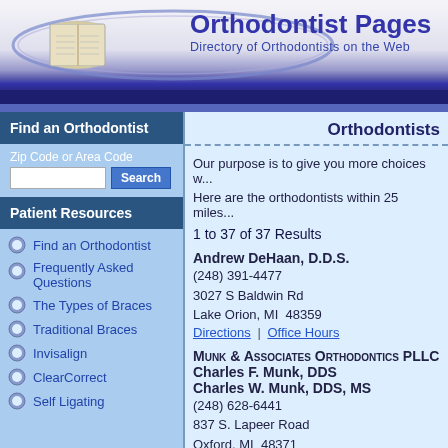[Figure (logo): Orthodontist Pages logo with open book and ellipse graphic, text 'Orthodontist Pages - Directory of Orthodontists on the Web']
Orthodontists
Our purpose is to give you more choices w...
Here are the orthodontists within 25 miles...
1 to 37 of 37 Results
Find an Orthodontist
Zip Code or Area Code
Patient Resources
Find an Orthodontist
Frequently Asked Questions
The Types of Braces
Traditional Braces
Invisalign
ClearCorrect
Self Ligating
Andrew DeHaan, D.D.S.
(248) 391-4477
3027 S Baldwin Rd
Lake Orion, MI 48359
Directions | Office Hours
Munk & Associates Orthodontics PLLC
Charles F. Munk, DDS
Charles W. Munk, DDS, MS
(248) 628-6441
837 S. Lapeer Road
Oxford, MI 48371
Directions | Office Hours